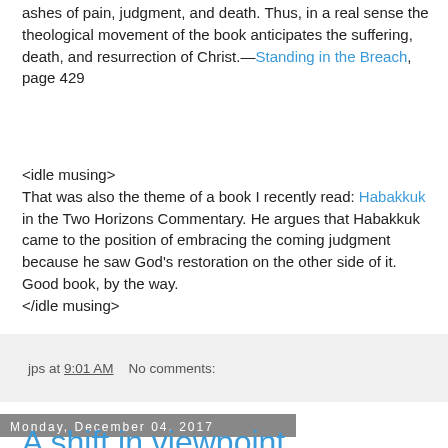ashes of pain, judgment, and death. Thus, in a real sense the theological movement of the book anticipates the suffering, death, and resurrection of Christ.—Standing in the Breach, page 429
<idle musing>
That was also the theme of a book I recently read: Habakkuk in the Two Horizons Commentary. He argues that Habakkuk came to the position of embracing the coming judgment because he saw God's restoration on the other side of it. Good book, by the way.
</idle musing>
jps at 9:01 AM    No comments:
Monday, December 04, 2017
A shift in viewpoint
God's holy anger is directed to and absorbed in Jesus. So one could say that just as the blood of the godless had been the inner substance of the righteous, so Christ absorbs the blood